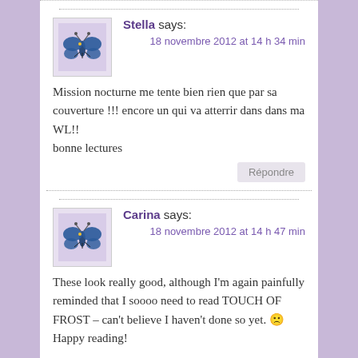Stella says:
18 novembre 2012 at 14 h 34 min
Mission nocturne me tente bien rien que par sa couverture !!! encore un qui va atterrir dans dans ma WL!!
bonne lectures
Répondre
Carina says:
18 novembre 2012 at 14 h 47 min
These look really good, although I’m again painfully reminded that I soooo need to read TOUCH OF FROST – can’t believe I haven’t done so yet. 🙁 Happy reading!